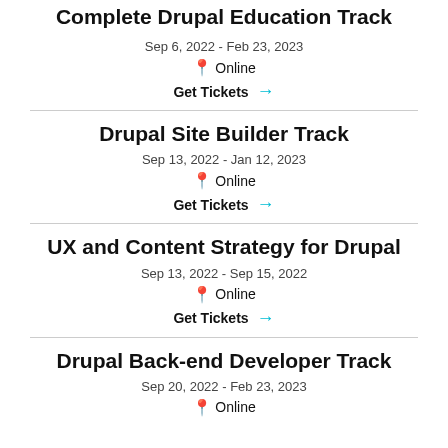Complete Drupal Education Track
Sep 6, 2022 - Feb 23, 2023
Online
Get Tickets →
Drupal Site Builder Track
Sep 13, 2022 - Jan 12, 2023
Online
Get Tickets →
UX and Content Strategy for Drupal
Sep 13, 2022 - Sep 15, 2022
Online
Get Tickets →
Drupal Back-end Developer Track
Sep 20, 2022 - Feb 23, 2023
Online